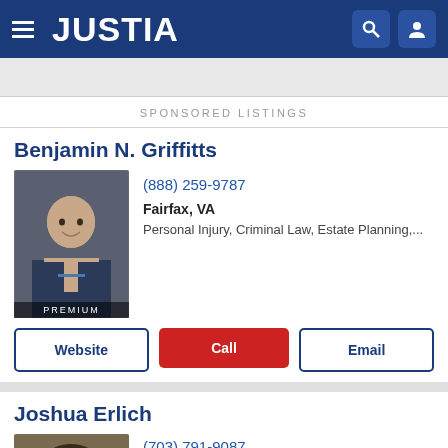JUSTIA
SPONSORED LISTINGS
Benjamin N. Griffitts
[Figure (photo): Professional headshot of Benjamin N. Griffitts, a man in a suit with a blue tie, with PREMIUM label at bottom]
(888) 259-9787
Fairfax, VA
Personal Injury, Criminal Law, Estate Planning,...
Website
Call
Email
Joshua Erlich
[Figure (photo): Photo of Joshua Erlich, a man with glasses and curly hair]
(703) 791-9087